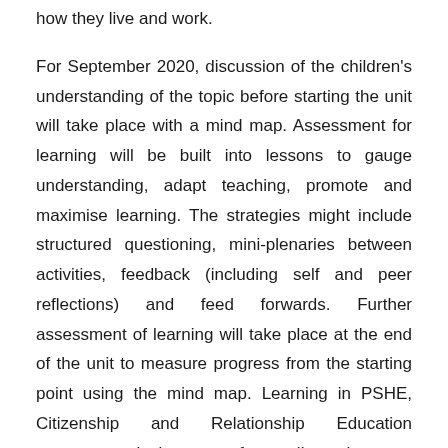how they live and work.
For September 2020, discussion of the children's understanding of the topic before starting the unit will take place with a mind map. Assessment for learning will be built into lessons to gauge understanding, adapt teaching, promote and maximise learning. The strategies might include structured questioning, mini-plenaries between activities, feedback (including self and peer reflections) and feed forwards. Further assessment of learning will take place at the end of the unit to measure progress from the starting point using the mind map. Learning in PSHE, Citizenship and Relationship Education assessment is important for pupils to have an opportunity to reflect on their